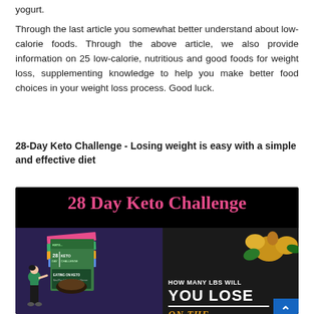yogurt.
Through the last article you somewhat better understand about low-calorie foods. Through the above article, we also provide information on 25 low-calorie, nutritious and good foods for weight loss, supplementing knowledge to help you make better food choices in your weight loss process. Good luck.
28-Day Keto Challenge - Losing weight is easy with a simple and effective diet
[Figure (illustration): 28 Day Keto Challenge promotional banner. Black background with pink text reading '28 Day Keto Challenge'. Below: left half shows a cartoon woman in workout clothes next to a stack of colorful keto challenge books/guides including '28 Day Keto Challenge' and 'Eating on Keto - Meal Plan & Tips for Getting Slimmer'. Right half shows food on a dark wooden surface with text 'HOW MANY LBS WILL YOU LOSE' in white and 'ON THE' in orange/gold italic text. A blue scroll-to-top button is visible in the bottom right.]